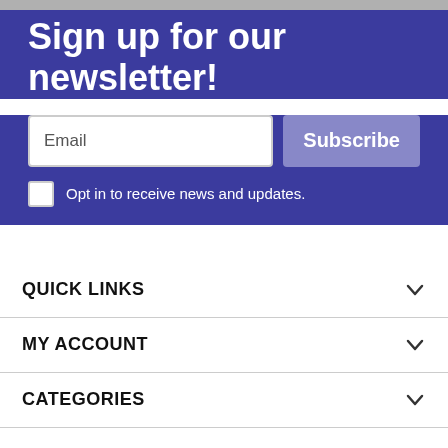Sign up for our newsletter!
Email
Subscribe
Opt in to receive news and updates.
QUICK LINKS
MY ACCOUNT
CATEGORIES
© 2022 Magical Fashions. All Rights Reserved. | Atlanta Ga USA